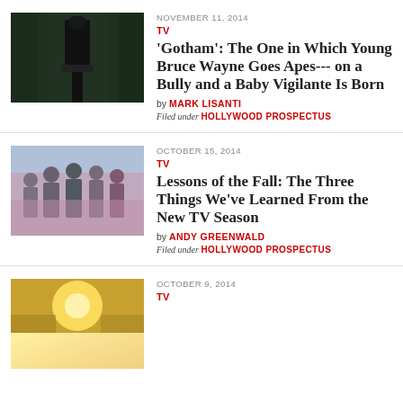[Figure (photo): Dark photo of a young man in a suit standing outdoors in front of buildings]
NOVEMBER 11, 2014
TV
'Gotham': The One in Which Young Bruce Wayne Goes Apes--- on a Bully and a Baby Vigilante Is Born
by MARK LISANTI
Filed under HOLLYWOOD PROSPECTUS
[Figure (photo): Group of young people posing together, TV show cast photo]
OCTOBER 15, 2014
TV
Lessons of the Fall: The Three Things We've Learned From the New TV Season
by ANDY GREENWALD
Filed under HOLLYWOOD PROSPECTUS
[Figure (photo): Partially visible photo with bright light, third article thumbnail]
OCTOBER 9, 2014
TV